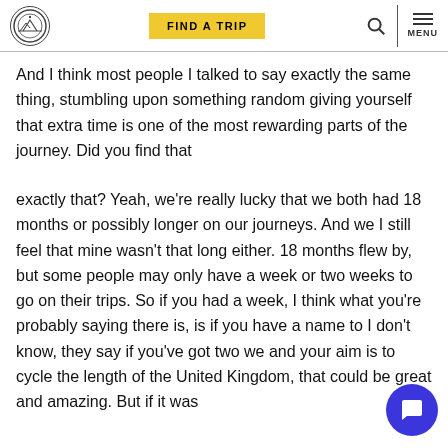FIND A TRIP | MENU
And I think most people I talked to say exactly the same thing, stumbling upon something random giving yourself that extra time is one of the most rewarding parts of the journey. Did you find that
exactly that? Yeah, we're really lucky that we both had 18 months or possibly longer on our journeys. And we I still feel that mine wasn't that long either. 18 months flew by, but some people may only have a week or two weeks to go on their trips. So if you had a week, I think what you're probably saying there is, is if you have a name to I don't know, they say if you've got two we and your aim is to cycle the length of the United Kingdom, that could be great and amazing. But if it was